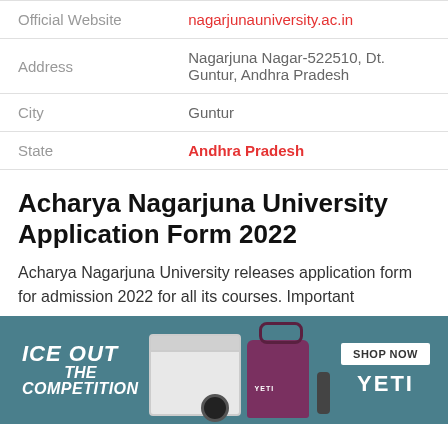| Official Website | nagarjunauniversity.ac.in |
| Address | Nagarjuna Nagar-522510, Dt. Guntur, Andhra Pradesh |
| City | Guntur |
| State | Andhra Pradesh |
Acharya Nagarjuna University Application Form 2022
Acharya Nagarjuna University releases application form for admission 2022 for all its courses. Important
[Figure (photo): Advertisement banner for YETI products showing coolers and bags with text 'ICE OUT THE COMPETITION' and a 'SHOP NOW' button and YETI logo]